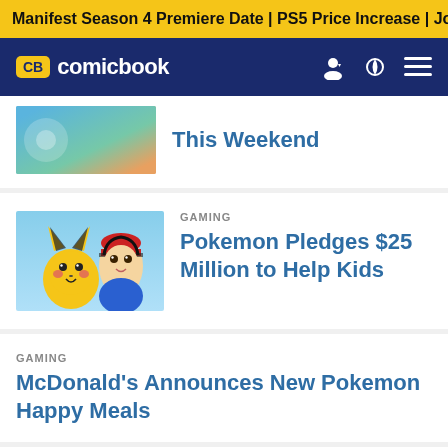Manifest Season 4 Premiere Date | PS5 Price Increase | Jon M
CB comicbook
This Weekend
GAMING
Pokemon Pledges $25 Million to Help Kids
GAMING
McDonald's Announces New Pokemon Happy Meals
GAMING